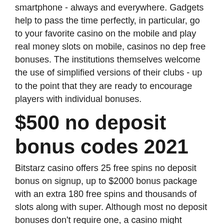smartphone - always and everywhere. Gadgets help to pass the time perfectly, in particular, go to your favorite casino on the mobile and play real money slots on mobile, casinos no dep free bonuses. The institutions themselves welcome the use of simplified versions of their clubs - up to the point that they are ready to encourage players with individual bonuses.
$500 no deposit bonus codes 2021
Bitstarz casino offers 25 free spins no deposit bonus on signup, up to $2000 bonus package with an extra 180 free spins and thousands of slots along with super. Although most no deposit bonuses don't require one, a casino might request a bonus without a deposit code to benefit from the perks of receiving a welcome bonus. If you want the best and latest usa no deposit